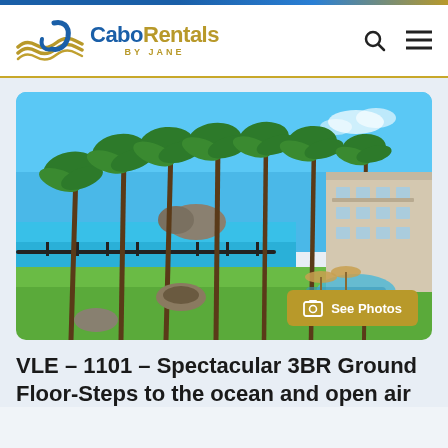CaboRentals BY JANE
[Figure (photo): Outdoor resort grounds with tall palm trees, lush green lawn, ocean view with turquoise water and rocky headland in background, resort building visible on right]
VLE – 1101 – Spectacular 3BR Ground Floor-Steps to the ocean and open air